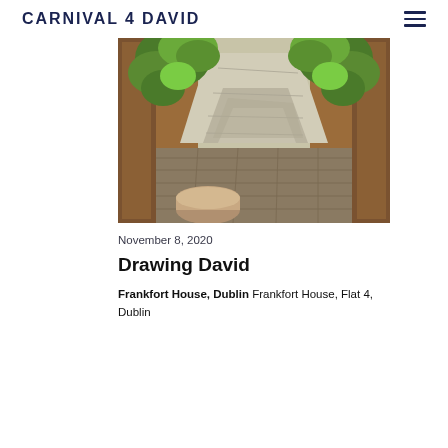CARNIVAL 4 DAVID
[Figure (illustration): Anime/illustration style image viewed from inside a room through open wooden doors looking out onto sunlit stone steps with green foliage/plants on either side. A mug or cup is visible in the lower foreground. The scene is rendered in a painted/animated artistic style with warm browns and greens.]
November 8, 2020
Drawing David
Frankfort House, Dublin Frankfort House, Flat 4, Dublin